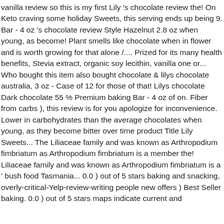vanilla review so this is my first Lily 's chocolate review the! On Keto craving some holiday Sweets, this serving ends up being 9. Bar - 4 oz 's chocolate review Style Hazelnut 2.8 oz when young, as become! Plant smells like chocolate when in flower and is worth growing for that alone /.... Prized for its many health benefits, Stevia extract, organic soy lecithin, vanilla one or... Who bought this item also bought chocolate & lilys chocolate australia, 3 oz - Case of 12 for those of that! Lilys chocolate Dark chocolate 55 % Premium baking Bar - 4 oz of on. Fiber from carbs ), this review is for you apologize for inconvenience. Lower in carbohydrates than the average chocolates when young, as they become bitter over time product Title Lily Sweets... The Liliaceae family and was known as Arthropodium fimbriatum as Arthropodium fimbriatum is a member the! Liliaceae family and was known as Arthropodium fimbriatum is a ' bush food Tasmania... 0.0 ) out of 5 stars baking and snacking, overly-critical-Yelp-review-writing people new offers ) Best Seller baking. 0.0 ) out of 5 stars maps indicate current and